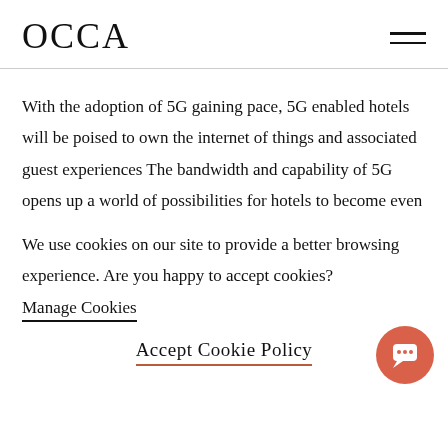OCCA
With the adoption of 5G gaining pace, 5G enabled hotels will be poised to own the internet of things and associated guest experiences The bandwidth and capability of 5G opens up a world of possibilities for hotels to become even
We use cookies on our site to provide a better browsing experience. Are you happy to accept cookies?
Manage Cookies
Accept Cookie Policy